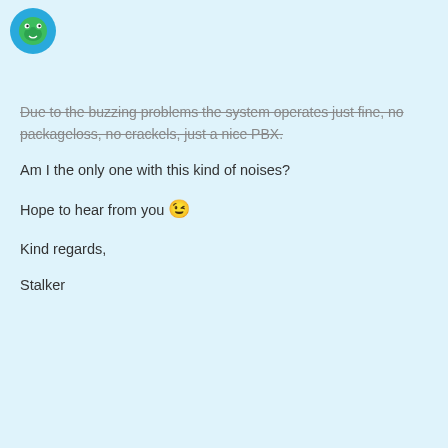[Figure (logo): FreePBX community forum logo - green frog icon in teal circle]
Due to the buzzing problems the system operates just fine, no packageloss, no crackels, just a nice PBX.

Am I the only one with this kind of noises?

Hope to hear from you 😉

Kind regards,

Stalker
created
Jun '14
last reply
Jun '14
6 replies
reconwireless
Preston McNair
Leader
Jun '14
1 / 7
What type of trunks are you using?